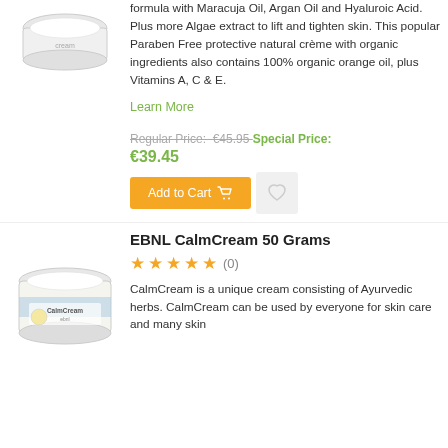formula with Maracuja Oil, Argan Oil and Hyaluroic Acid. Plus more Algae extract to lift and tighten skin. This popular Paraben Free protective natural crème with organic ingredients also contains 100% organic orange oil, plus Vitamins A, C & E.
Learn More
Regular Price: €45.95 Special Price: €39.45
Add to Cart
EBNL CalmCream 50 Grams
★★★★★ (0)
CalmCream is a unique cream consisting of Ayurvedic herbs. CalmCream can be used by everyone for skin care and many skin